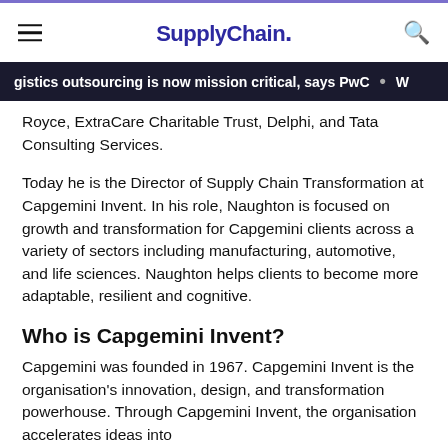SupplyChain.
gistics outsourcing is now mission critical, says PwC
Royce, ExtraCare Charitable Trust, Delphi, and Tata Consulting Services.
Today he is the Director of Supply Chain Transformation at Capgemini Invent. In his role, Naughton is focused on growth and transformation for Capgemini clients across a variety of sectors including manufacturing, automotive, and life sciences. Naughton helps clients to become more adaptable, resilient and cognitive.
Who is Capgemini Invent?
Capgemini was founded in 1967. Capgemini Invent is the organisation's innovation, design, and transformation powerhouse. Through Capgemini Invent, the organisation accelerates ideas into